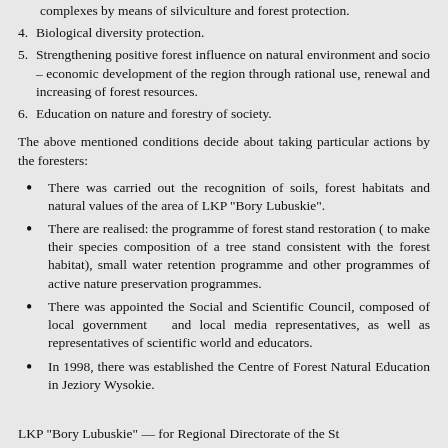complexes by means of silviculture and forest protection.
4. Biological diversity protection.
5. Strengthening positive forest influence on natural environment and socio – economic development of the region through rational use, renewal and increasing of forest resources.
6. Education on nature and forestry of society.
The above mentioned conditions decide about taking particular actions by the foresters:
There was carried out the recognition of soils, forest habitats and natural values of the area of LKP "Bory Lubuskie".
There are realised: the programme of forest stand restoration ( to make their species composition of a tree stand consistent with the forest habitat), small water retention programme and other programmes of active nature preservation programmes.
There was appointed the Social and Scientific Council, composed of local government and local media representatives, as well as representatives of scientific world and educators.
In 1998, there was established the Centre of Forest Natural Education in Jeziory Wysokie.
LKP "Bory Lubuskie" — for Regional Directorate of the State...